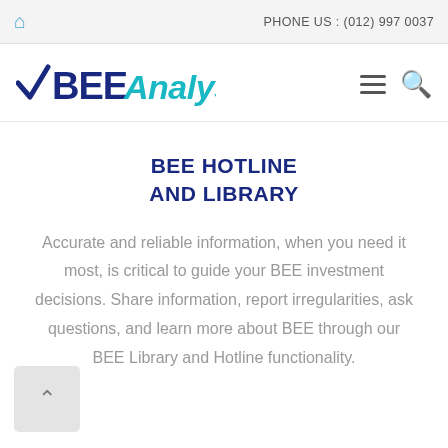PHONE US : (012) 997 0037
[Figure (logo): BEEAnalyst logo with checkmark, blue and teal colors]
BEE HOTLINE AND LIBRARY
Accurate and reliable information, when you need it most, is critical to guide your BEE investment decisions. Share information, report irregularities, ask questions, and learn more about BEE through our BEE Library and Hotline functionality.